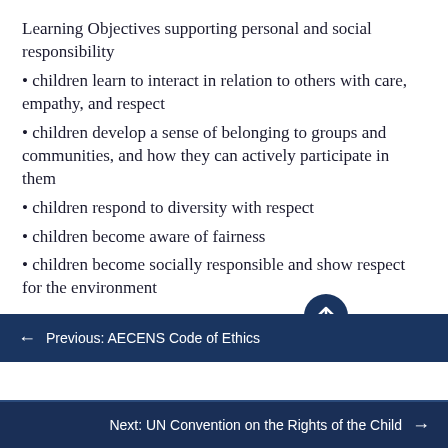Learning Objectives supporting personal and social responsibility
• children learn to interact in relation to others with care, empathy, and respect
• children develop a sense of belonging to groups and communities, and how they can actively participate in them
• children respond to diversity with respect
• children become aware of fairness
• children become socially responsible and show respect for the environment
Attribution
← Previous: AECENS Code of Ethics
Next: UN Convention on the Rights of the Child →